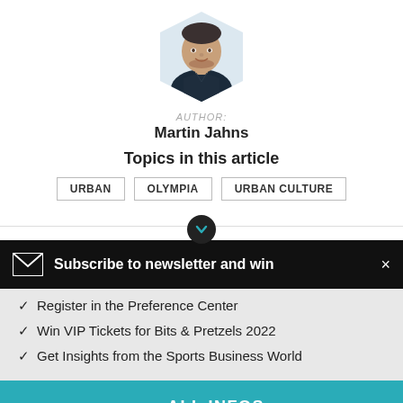[Figure (photo): Hexagon-shaped author photo of Martin Jahns, a man with short dark hair and beard wearing a dark V-neck shirt, light background]
AUTHOR:
Martin Jahns
Topics in this article
URBAN
OLYMPIA
URBAN CULTURE
Subscribe to newsletter and win
✓ Register in the Preference Center
✓ Win VIP Tickets for Bits & Pretzels 2022
✓ Get Insights from the Sports Business World
→ ALL INFOS